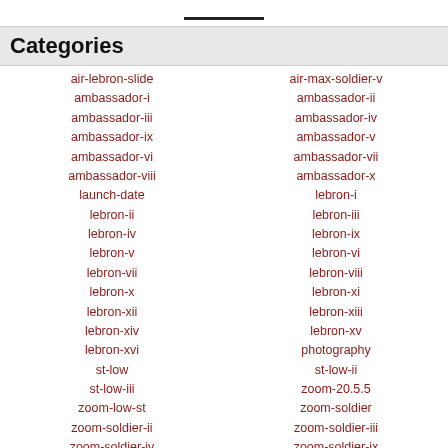Categories
air-lebron-slide
air-max-soldier-v
ambassador-i
ambassador-ii
ambassador-iii
ambassador-iv
ambassador-ix
ambassador-v
ambassador-vi
ambassador-vii
ambassador-viii
ambassador-x
launch-date
lebron-i
lebron-ii
lebron-iii
lebron-iv
lebron-ix
lebron-v
lebron-vi
lebron-vii
lebron-viii
lebron-x
lebron-xi
lebron-xii
lebron-xiii
lebron-xiv
lebron-xv
lebron-xvi
photography
st-low
st-low-ii
st-low-iii
zoom-20.5.5
zoom-low-st
zoom-soldier
zoom-soldier-ii
zoom-soldier-iii
zoom-soldier-iv
zoom-soldier-ix
zoom-soldier-vi
zoom-soldier-vii
zoom-soldier-viii
zoom-soldier-x